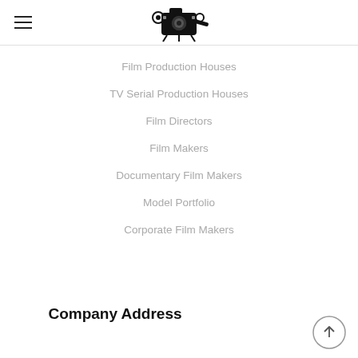Film camera logo and hamburger menu
Film Production Houses
TV Serial Production Houses
Film Directors
Film Makers
Documentary Film Makers
Model Portfolio
Corporate Film Makers
Company Address